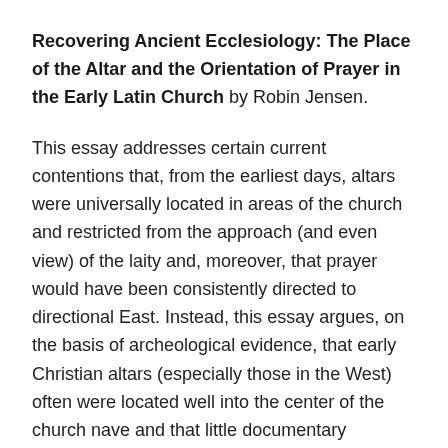Recovering Ancient Ecclesiology: The Place of the Altar and the Orientation of Prayer in the Early Latin Church by Robin Jensen.
This essay addresses certain current contentions that, from the earliest days, altars were universally located in areas of the church and restricted from the approach (and even view) of the laity and, moreover, that prayer would have been consistently directed to directional East. Instead, this essay argues, on the basis of archeological evidence, that early Christian altars (especially those in the West) often were located well into the center of the church nave and that little documentary evidence supports the directional orientation of prayer, particularly in non-oriented